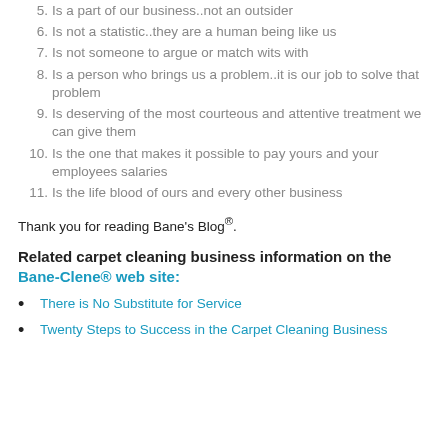5. Is a part of our business..not an outsider
6. Is not a statistic..they are a human being like us
7. Is not someone to argue or match wits with
8. Is a person who brings us a problem..it is our job to solve that problem
9. Is deserving of the most courteous and attentive treatment we can give them
10. Is the one that makes it possible to pay yours and your employees salaries
11. Is the life blood of ours and every other business
Thank you for reading Bane's Blog®.
Related carpet cleaning business information on the Bane-Clene® web site:
There is No Substitute for Service
Twenty Steps to Success in the Carpet Cleaning Business